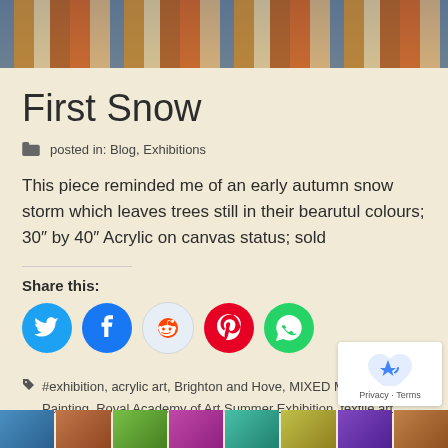[Figure (photo): Close-up of a painting with vertical brushstrokes in blue, brown, orange, and white colors suggesting trees]
First Snow
posted in: Blog, Exhibitions
This piece reminded me of an early autumn snow storm which leaves trees still in their bearutul colours; 30″ by 40″ Acrylic on canvas status; sold
Share this:
[Figure (infographic): Social share buttons: Twitter (blue), Facebook (blue), Reddit (light blue), Pinterest (red), WhatsApp (green)]
#exhibition, acrylic art, Brighton and Hove, MIXED MEDIA, Oil Painting, Royal Academy of Art Summer Exhibition, textile art
[Figure (photo): Row of small thumbnail images at the bottom of the page]